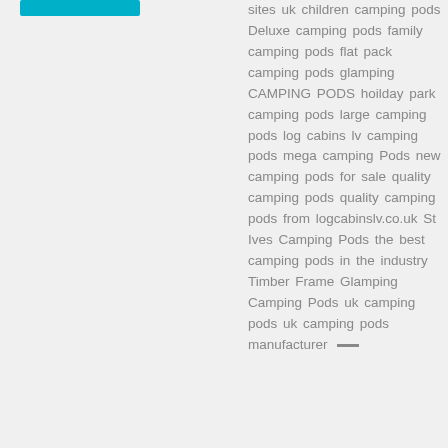sites uk children camping pods Deluxe camping pods family camping pods flat pack camping pods glamping CAMPING PODS hoilday park camping pods large camping pods log cabins lv camping pods mega camping Pods new camping pods for sale quality camping pods quality camping pods from logcabinslv.co.uk St Ives Camping Pods the best camping pods in the industry Timber Frame Glamping Camping Pods uk camping pods uk camping pods manufacturer —